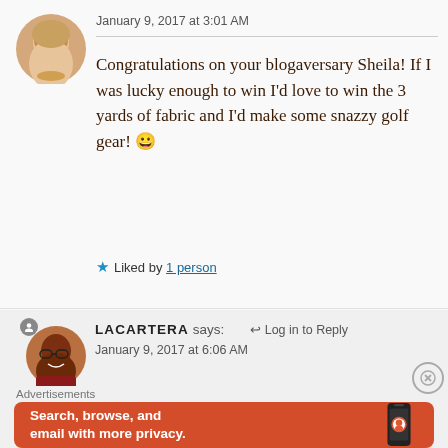January 9, 2017 at 3:01 AM
Congratulations on your blogaversary Sheila! If I was lucky enough to win I'd love to win the 3 yards of fabric and I'd make some snazzy golf gear! 😀
★ Liked by 1 person
LACARTERA says:   Log in to Reply
January 9, 2017 at 6:06 AM
Advertisements
[Figure (screenshot): DuckDuckGo advertisement banner with orange background. Text: 'Search, browse, and email with more privacy. All in One Free App' with a phone mockup showing DuckDuckGo logo.]